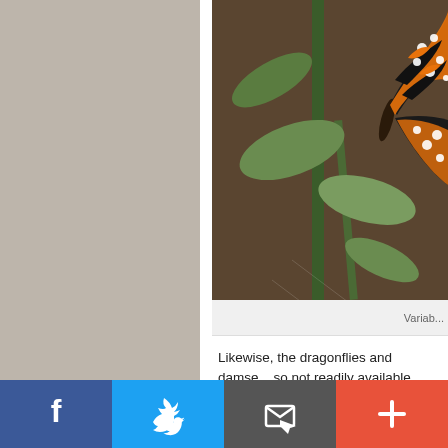[Figure (photo): A butterfly with black, white, and orange checkered wing pattern resting on a green plant stem with leaves, against a brown background. Only right portion of image is visible.]
Variab...
Likewise, the dragonflies and damse... so not readily available around Tucs...
[Figure (photo): Close-up photo of a sandy or rocky textured surface, partially visible at the bottom of the page.]
[Figure (infographic): Social media share bar with four buttons: Facebook (blue), Twitter (light blue), Email (dark gray), and Plus/More (orange-red).]